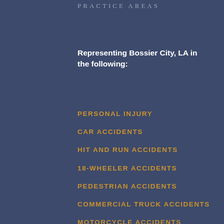PRACTICE AREAS
Representing Bossier City, LA in the following:
PERSONAL INJURY
CAR ACCIDENTS
HIT AND RUN ACCIDENTS
18-WHEELER ACCIDENTS
PEDESTRIAN ACCIDENTS
COMMERCIAL TRUCK ACCIDENTS
MOTORCYCLE ACCIDENTS
BICYCLE ACCIDENTS
OIL FIELD ACCIDENTS
OFFSHORE MARITIME ACCIDENTS